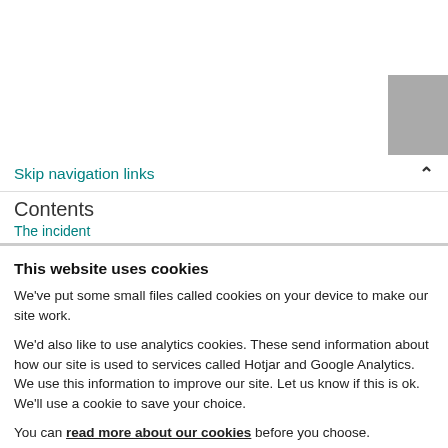Skip navigation links
Contents
The incident
This website uses cookies
We've put some small files called cookies on your device to make our site work.
We'd also like to use analytics cookies. These send information about how our site is used to services called Hotjar and Google Analytics. We use this information to improve our site. Let us know if this is ok. We'll use a cookie to save your choice.
You can read more about our cookies before you choose.
Allow selection
Allow all cookies